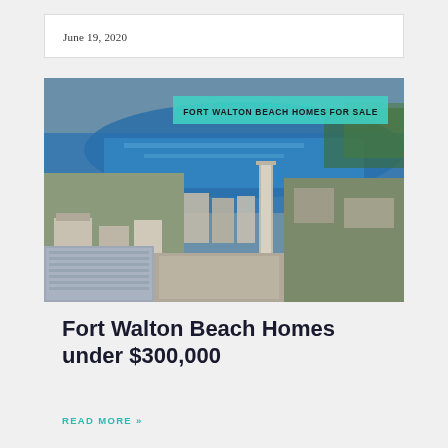June 19, 2020
[Figure (photo): Aerial view of Fort Walton Beach, Florida, showing coastal city with waterway, bridge, and beachfront buildings. Teal banner overlay reads: FORT WALTON BEACH HOMES FOR SALE]
Fort Walton Beach Homes under $300,000
READ MORE »